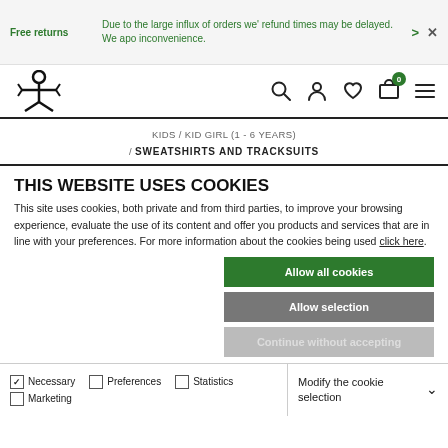Free returns | Due to the large influx of orders we' refund times may be delayed. We apo inconvenience.
[Figure (logo): Benetton logo - stylized asterisk/person icon in black]
KIDS / KID GIRL (1 - 6 YEARS) / SWEATSHIRTS AND TRACKSUITS
THIS WEBSITE USES COOKIES
This site uses cookies, both private and from third parties, to improve your browsing experience, evaluate the use of its content and offer you products and services that are in line with your preferences. For more information about the cookies being used click here.
Allow all cookies
Allow selection
Continue without accepting
Necessary  Preferences  Statistics  Marketing  Modify the cookie selection